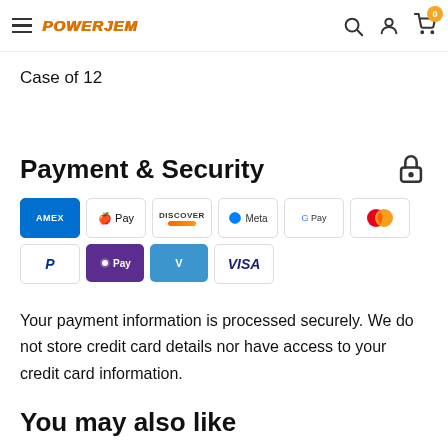PowerJem — navigation header with hamburger menu, logo, search, account, and cart (0 items)
Case of 12
Payment & Security
[Figure (other): Payment method icons: American Express, Apple Pay, Discover, Meta Pay, Google Pay, Mastercard, PayPal, OPay, Venmo, Visa]
Your payment information is processed securely. We do not store credit card details nor have access to your credit card information.
You may also like